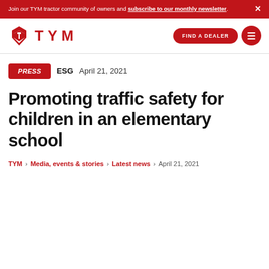Join our TYM tractor community of owners and subscribe to our monthly newsletter.
[Figure (logo): TYM logo with red icon and red TYM text]
FIND A DEALER
PRESS   ESG   April 21, 2021
Promoting traffic safety for children in an elementary school
TYM › Media, events & stories › Latest news › April 21, 2021